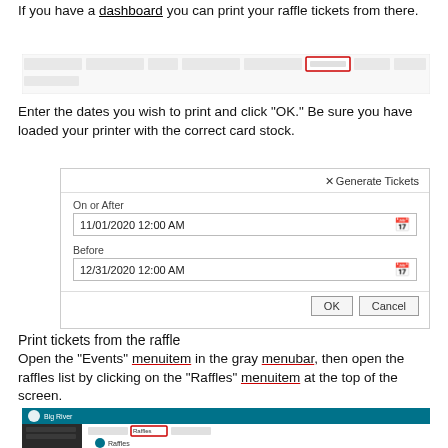If you have a dashboard you can print your raffle tickets from there.
[Figure (screenshot): Screenshot of a navigation bar with multiple menu items, one highlighted in red]
Enter the dates you wish to print and click “OK.” Be sure you have loaded your printer with the correct card stock.
[Figure (screenshot): Dialog box titled 'Generate Tickets' with 'On or After' date field showing '11/01/2020 12:00 AM', 'Before' date field showing '12/31/2020 12:00 AM', and OK/Cancel buttons]
Print tickets from the raffle
Open the “Events” menuitem in the gray menubar, then open the raffles list by clicking on the “Raffles” menuitem at the top of the screen.
[Figure (screenshot): Screenshot of Big River application showing a teal header and left sidebar navigation, with 'Raffles' menuitem highlighted in a red box]